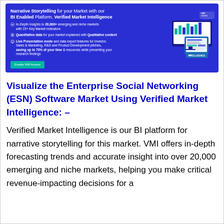[Figure (infographic): VMI banner advertisement showing Narrative Storytelling for your Market with our BI Enabled Platform, Verified Market Intelligence. Features bullet points about in-depth insights, quantitative data, and live presentation mode. Has a green Enable VMI Access button and screen mockup graphics on the right.]
Visualize the Enterprise Social Networking (ESN) Software Market Using Verified Market Intelligence: –
Verified Market Intelligence is our BI platform for narrative storytelling for this market. VMI offers in-depth forecasting trends and accurate insight into over 20,000 emerging and niche markets, helping you make critical revenue-impacting decisions for a